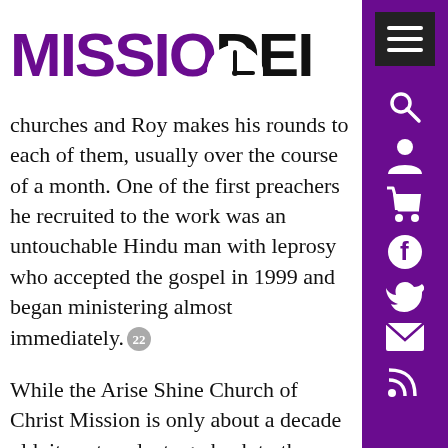[Figure (logo): Missio Dei logo with purple bold text and circular icon, with 'DEI' in black]
churches and Roy makes his rounds to each of them, usually over the course of a month. One of the first preachers he recruited to the work was an untouchable Hindu man with leprosy who accepted the gospel in 1999 and began ministering almost immediately.²²
While the Arise Shine Church of Christ Mission is only about a decade old, its antecedents go back to the 1920s when Roy's great grandfather, a Hindu man, converted to Christianity after being persuaded by North American missionaries. These missionaries were not from the Church of Christ, however.
[Figure (infographic): Purple sidebar with menu button (dark background, three white lines), search icon, person icon, shopping cart icon, Facebook icon, Twitter icon, email icon, RSS icon]